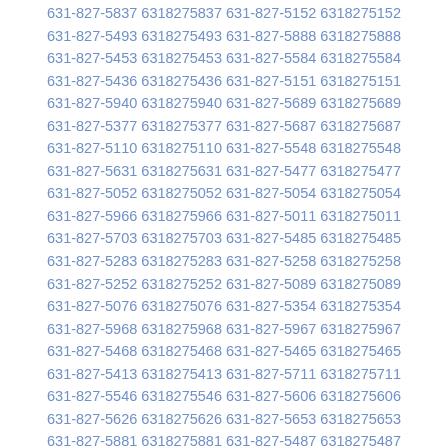631-827-5837 6318275837 631-827-5152 6318275152
631-827-5493 6318275493 631-827-5888 6318275888
631-827-5453 6318275453 631-827-5584 6318275584
631-827-5436 6318275436 631-827-5151 6318275151
631-827-5940 6318275940 631-827-5689 6318275689
631-827-5377 6318275377 631-827-5687 6318275687
631-827-5110 6318275110 631-827-5548 6318275548
631-827-5631 6318275631 631-827-5477 6318275477
631-827-5052 6318275052 631-827-5054 6318275054
631-827-5966 6318275966 631-827-5011 6318275011
631-827-5703 6318275703 631-827-5485 6318275485
631-827-5283 6318275283 631-827-5258 6318275258
631-827-5252 6318275252 631-827-5089 6318275089
631-827-5076 6318275076 631-827-5354 6318275354
631-827-5968 6318275968 631-827-5967 6318275967
631-827-5468 6318275468 631-827-5465 6318275465
631-827-5413 6318275413 631-827-5711 6318275711
631-827-5546 6318275546 631-827-5606 6318275606
631-827-5626 6318275626 631-827-5653 6318275653
631-827-5881 6318275881 631-827-5487 6318275487
631-827-5404 6318275404 631-827-5921 6318275921
631-827-5958 6318275958 631-827-5661 6318275661
631-827-5787 6318275787 631-827-5154 6318275154
631-827-5960 6318275960 631-827-5281 6318275281
631-827-5016 6318275016 631-827-5273 6318275273